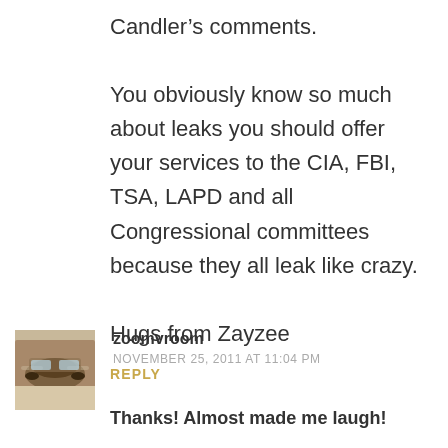Candler’s comments.
You obviously know so much about leaks you should offer your services to the CIA, FBI, TSA, LAPD and all Congressional committees because they all leak like crazy.
Hugs from Zayzee
REPLY
[Figure (photo): Small avatar thumbnail showing a car, used as commenter profile picture for zoomvroom]
zoomvroom
NOVEMBER 25, 2011 AT 11:04 PM
Thanks! Almost made me laugh!